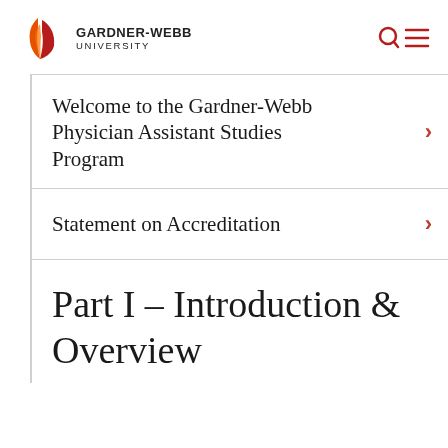GARDNER-WEBB UNIVERSITY
Welcome to the Gardner-Webb Physician Assistant Studies Program
Statement on Accreditation
Part I – Introduction & Overview